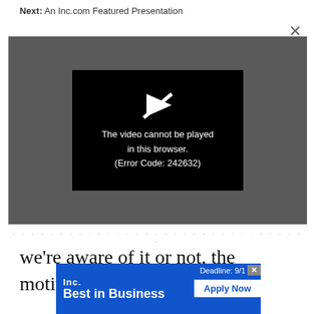Next: An Inc.com Featured Presentation
[Figure (screenshot): Video player showing error message: 'The video cannot be played in this browser. (Error Code: 242632)' on a dark gray background with a black error box and play icon with slash through it.]
we're aware of it or not, the motivation behind every action (no matter how small) is inhe
[Figure (infographic): Inc. Best in Business advertisement banner. Blue background with 'Inc.' logo, 'Best in Business' tagline in bold white text, 'Deadline: 9/1' on right side with an X close button, and 'Apply Now' button in white.]